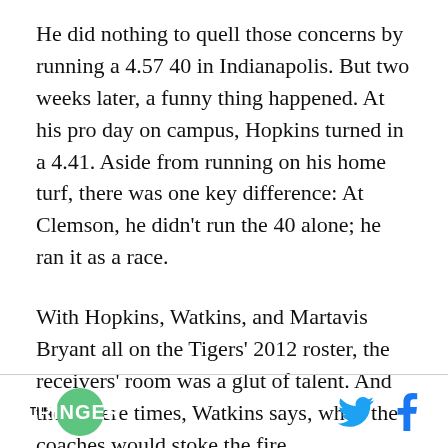He did nothing to quell those concerns by running a 4.57 40 in Indianapolis. But two weeks later, a funny thing happened. At his pro day on campus, Hopkins turned in a 4.41. Aside from running on his home turf, there was one key difference: At Clemson, he didn't run the 40 alone; he ran it as a race.
With Hopkins, Watkins, and Martavis Bryant all on the Tigers' 2012 roster, the receivers' room was a glut of talent. And there were times, Watkins says, when the coaches would stoke the fire.
[Figure (logo): The Ringer logo with green circle and social media icons (Twitter bird and Facebook f)]